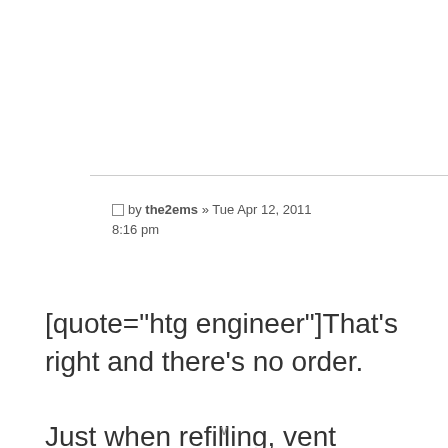□by the2ems » Tue Apr 12, 2011 8:16 pm
[quote="htg engineer"]That's right and there's no order.

Just when refilling, vent downstairs - working up.